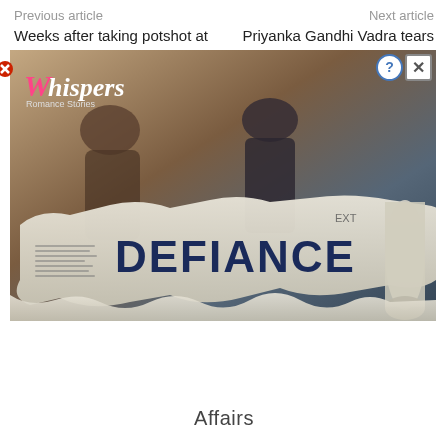Previous article    Next article
Weeks after taking potshot at    Priyanka Gandhi Vadra tears
[Figure (photo): Advertisement image for 'Whispers' romance stories app featuring two people in a romantic pose with a torn newspaper revealing the word 'DEFIANCE' in large bold letters. Has close button and help/close controls in top right.]
Affairs